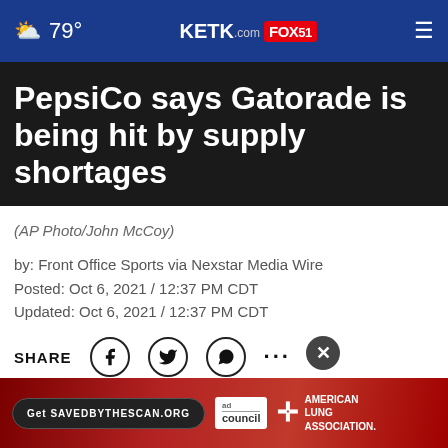79° KETK.com FOX51
PepsiCo says Gatorade is being hit by supply shortages
(AP Photo/John McCoy)
by: Front Office Sports via Nexstar Media Wire
Posted: Oct 6, 2021 / 12:37 PM CDT
Updated: Oct 6, 2021 / 12:37 PM CDT
SHARE
(Front Office Sports) – PepsiCo is set to raise prices to offs... includ...
[Figure (screenshot): Ad banner: Get SAVEDBYTHESCAN.ORG — Ad Council — American Lung Association]